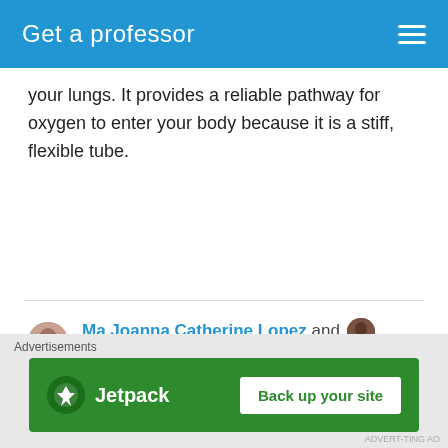Get a professor
your lungs. It provides a reliable pathway for oxygen to enter your body because it is a stiff, flexible tube.
View Conversation
Ma Joanna Catherine Lopez and Shaun Lester Gutib are now friends a year ago
[Figure (photo): Partial photo of a person at bottom of content area]
Advertisements — Jetpack: Back up your site